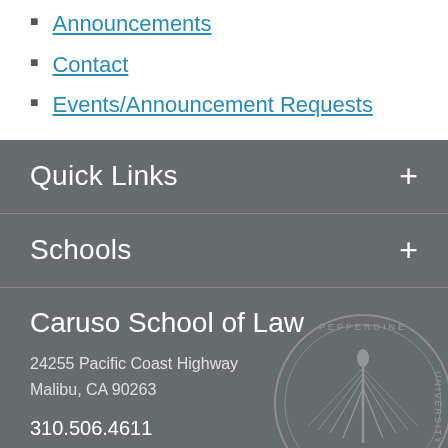Announcements
Contact
Events/Announcement Requests
Quick Links
Schools
Caruso School of Law
24255 Pacific Coast Highway
Malibu, CA 90263
310.506.4611